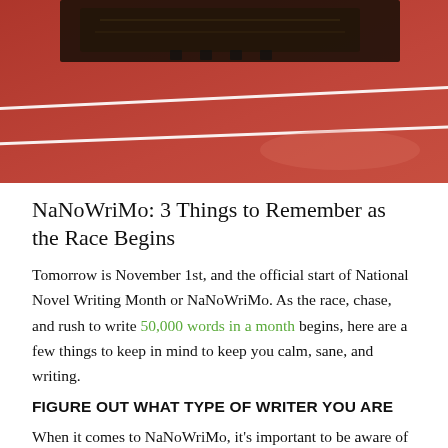[Figure (photo): Close-up photograph of a red running track surface with white lane lines and a pair of dark athletic shoes/spikes at the top of the frame.]
NaNoWriMo: 3 Things to Remember as the Race Begins
Tomorrow is November 1st, and the official start of National Novel Writing Month or NaNoWriMo. As the race, chase, and rush to write 50,000 words in a month begins, here are a few things to keep in mind to keep you calm, sane, and writing.
FIGURE OUT WHAT TYPE OF WRITER YOU ARE
When it comes to NaNoWriMo, it's important to be aware of the type of writer you are. NaNoWriMo believes that there are two types of WriMos: the